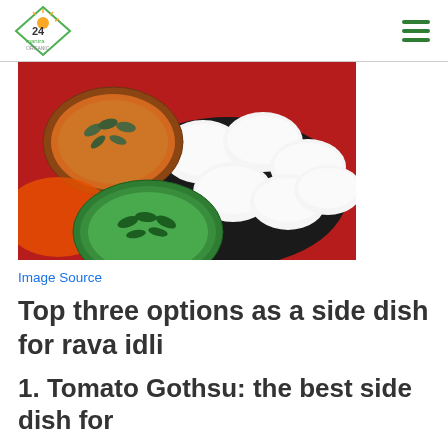24 mantra organic logo and navigation
[Figure (photo): Photo of idli served on a black plate with two bowls of chutneys — an orange-brown sambar/gothsu with curry leaves on the left and green chutney with curry leaves at the bottom, on a red background.]
Image Source
Top three options as a side dish for rava idli
1. Tomato Gothsu: the best side dish for